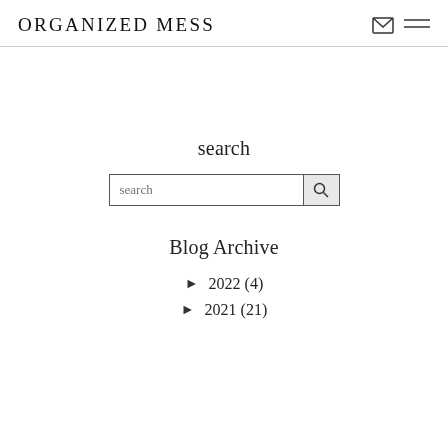ORGANIZED MESS
search
search
Blog Archive
► 2022 (4)
► 2021 (21)